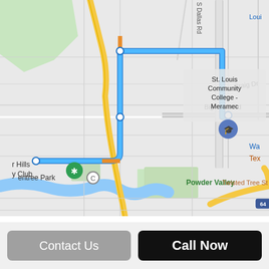[Figure (map): Google Maps screenshot showing a navigation route (blue line) from Centree Park area through I-270 and Big Bend Rd to St. Louis Community College - Meramec. Map features include yellow highway routes (I-270, I-64), green park areas, blue river, and various road labels including Craig Dr, Big Bend Rd, S Dallas Rd. Labels visible: 'r Hills y Club' with a green icon, 'St. Louis Community College - Meramec' with a graduation cap pin, 'Powder Valley', 'Twisted Tree St', 'Wa', 'Tex', '270', '64'.]
Contact Us
Call Now